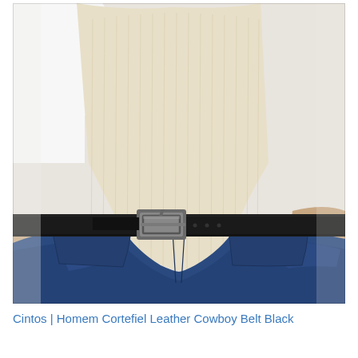[Figure (photo): Close-up photo of a person wearing a cream ribbed knit sweater vest tucked into dark blue denim jeans, with a black leather cowboy belt featuring a silver rectangular buckle. The person's left hand is in the jeans pocket.]
Cintos | Homem Cortefiel Leather Cowboy Belt Black